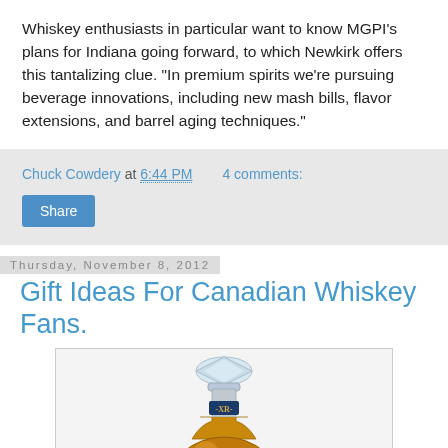Whiskey enthusiasts in particular want to know MGPI's plans for Indiana going forward, to which Newkirk offers this tantalizing clue. "In premium spirits we're pursuing beverage innovations, including new mash bills, flavor extensions, and barrel aging techniques."
Chuck Cowdery at 6:44 PM   4 comments:
Share
Thursday, November 8, 2012
Gift Ideas For Canadian Whiskey Fans.
[Figure (photo): A bottle of whiskey labeled XR with a decorative crystal stopper, amber-colored liquid, dark blue label with gold text]